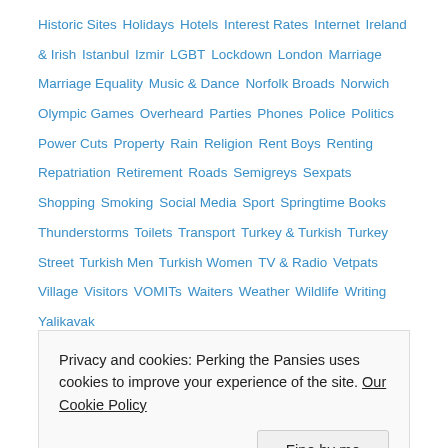Historic Sites  Holidays  Hotels  Interest Rates  Internet  Ireland & Irish  Istanbul  Izmir  LGBT  Lockdown  London  Marriage  Marriage Equality  Music & Dance  Norfolk Broads  Norwich  Olympic Games  Overheard  Parties  Phones  Police  Politics  Power Cuts  Property  Rain  Religion  Rent Boys  Renting  Repatriation  Retirement  Roads  Semigreys  Sexpats  Shopping  Smoking  Social Media  Sport  Springtime Books  Thunderstorms  Toilets  Transport  Turkey & Turkish  Turkey Street  Turkish Men  Turkish Women  TV & Radio  Vetpats  Village  Visitors  VOMITs  Waiters  Weather  Wildlife  Writing  Yalikavak
Jack Scott On
BlogExpat
British Expats
Expat Bookshop
Expat Quotes
Privacy and cookies: Perking the Pansies uses cookies to improve your experience of the site. Our Cookie Policy
Jack's Favourites